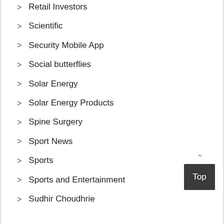Retail Investors
Scientific
Security Mobile App
Social butterflies
Solar Energy
Solar Energy Products
Spine Surgery
Sport News
Sports
Sports and Entertainment
Sudhir Choudhrie